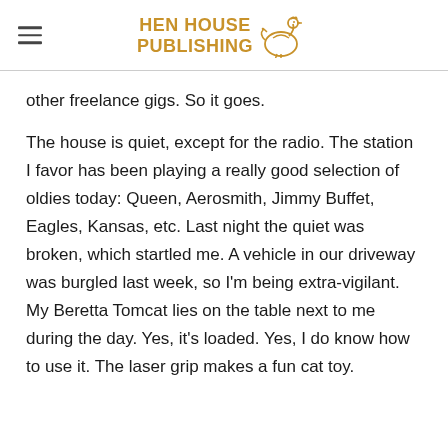HEN HOUSE PUBLISHING
other freelance gigs. So it goes.
The house is quiet, except for the radio. The station I favor has been playing a really good selection of oldies today: Queen, Aerosmith, Jimmy Buffet, Eagles, Kansas, etc. Last night the quiet was broken, which startled me. A vehicle in our driveway was burgled last week, so I'm being extra-vigilant. My Beretta Tomcat lies on the table next to me during the day. Yes, it's loaded. Yes, I do know how to use it. The laser grip makes a fun cat toy.